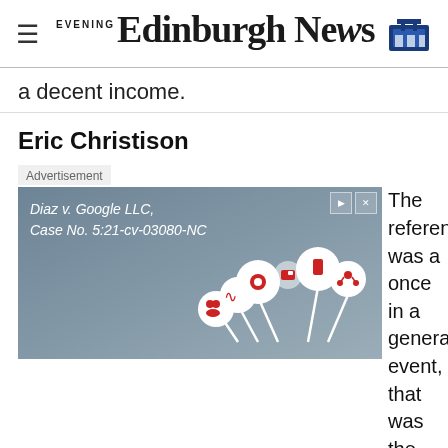Edinburgh Evening News
a decent income.
Eric Christison
Advertisement
[Figure (screenshot): Google LLC advertisement banner showing text 'Diaz v. Google LLC, Case No. 5:21-cv-03080-NC' with icons on a grey-blue background]
The referendum was a once in a generation event, that was the
[Figure (screenshot): Bottom advertisement bar for Roundup/HDX/Ace weed killer class action settlement at WeedKillerAdSettlement.com]